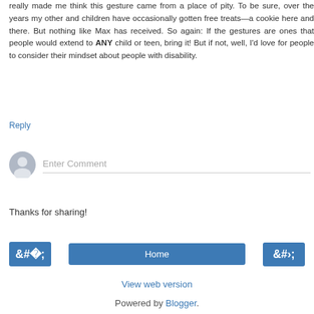really made me think this gesture came from a place of pity. To be sure, over the years my other and children have occasionally gotten free treats—a cookie here and there. But nothing like Max has received. So again: If the gestures are ones that people would extend to ANY child or teen, bring it! But if not, well, I'd love for people to consider their mindset about people with disability.
Reply
[Figure (illustration): Gray user avatar circle icon for comment input]
Enter Comment
Thanks for sharing!
‹
Home
›
View web version
Powered by Blogger.